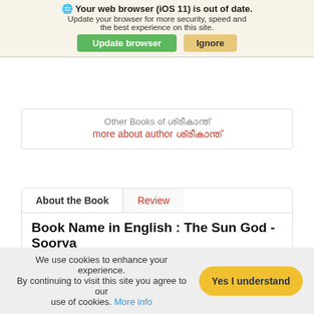Your web browser (iOS 11) is out of date. Update your browser for more security, speed and the best experience on this site.
KERALA BOOK STORE
Other Books of ശ്രീകാന്ത്
more about author ശ്രീകാന്ത്
About the Book
Review
Book Name in English : The Sun God - Soorya
Related to sun worship, which has been a universal religion, there evolved in India a profound wealth of philosophical knowledge about the deeper dimensions of man and his relation with the Cosmic Reality. The book reveals a world of symbology and spiritual insights.
We use cookies to enhance your experience. By continuing to visit this site you agree to our use of cookies. More info